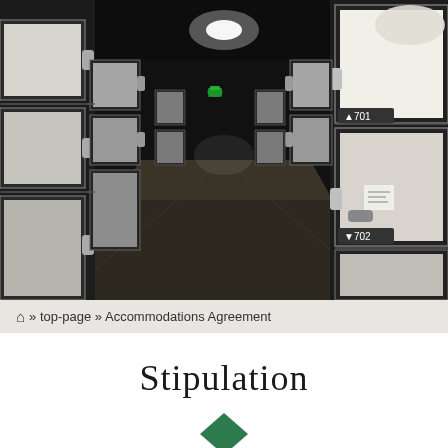[Figure (photo): Interior corridor of a capsule hotel showing rows of stacked white capsule units with numbered labels (701, 702) on the right side, dark carpet flooring, and illuminated capsule interiors. The hallway perspective leads to the back with a green light visible.]
⌂ » top-page » Accommodations Agreement
Stipulation